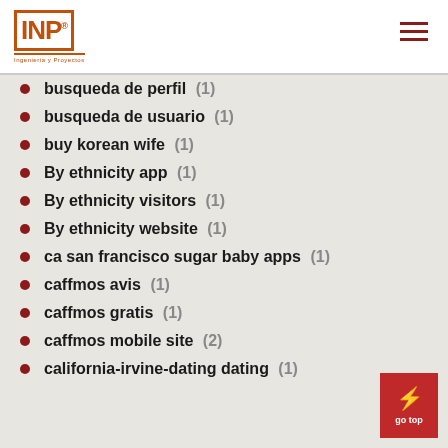INP (logo with hamburger menu)
busqueda de perfil (1)
busqueda de usuario (1)
buy korean wife (1)
By ethnicity app (1)
By ethnicity visitors (1)
By ethnicity website (1)
ca san francisco sugar baby apps (1)
caffmos avis (1)
caffmos gratis (1)
caffmos mobile site (2)
california-irvine-dating dating (1)